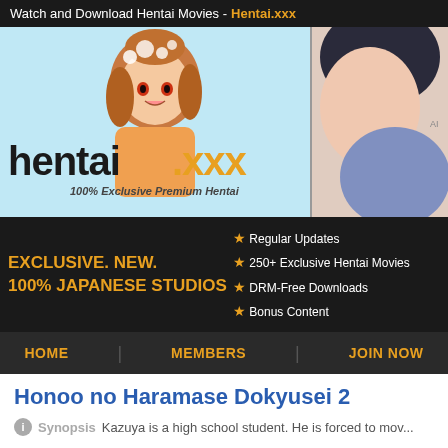Watch and Download Hentai Movies - Hentai.xxx
[Figure (illustration): Hentai.xxx website banner with anime character and logo reading hentai.xxx with tagline 100% Exclusive Premium Hentai]
EXCLUSIVE. NEW. 100% JAPANESE STUDIOS
Regular Updates
250+ Exclusive Hentai Movies
DRM-Free Downloads
Bonus Content
Regular Updates
250+ Exclusive Hentai Movies
DRM-Free Downloads
Bonus Content
HOME   MEMBERS   JOIN NOW
Honoo no Haramase Dokyusei 2
Synopsis  Kazuya is a high school student. He is forced to mov...
[Figure (screenshot): Two thumbnail screenshots from the video]